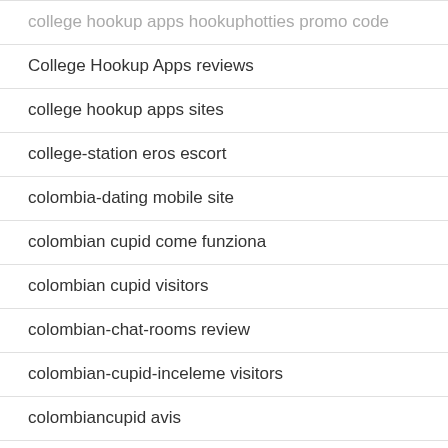college hookup apps hookuphotties promo code
College Hookup Apps reviews
college hookup apps sites
college-station eros escort
colombia-dating mobile site
colombian cupid come funziona
colombian cupid visitors
colombian-chat-rooms review
colombian-cupid-inceleme visitors
colombiancupid avis
colombiancupid cs review